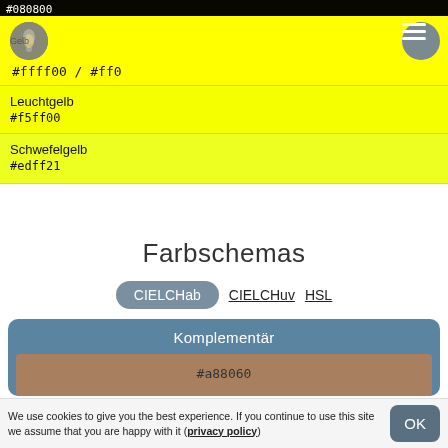#080800
Gelb
#ffff00 / #ff0
Leuchtgelb
#f5ff00
Schwefelgelb
#edff21
Farbschemas
CIELCHab  CIELCHuv  HSL
Komplementär
#a88060
We use cookies to give you the best experience. If you continue to use this site we assume that you are happy with it (privacy policy)